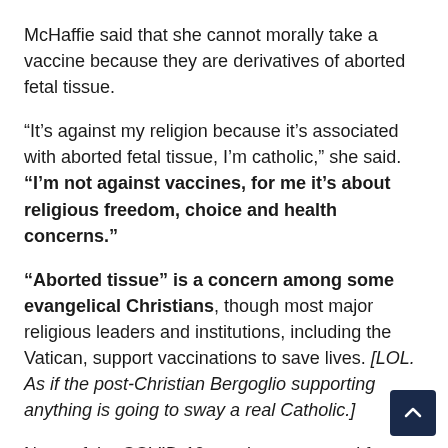McHaffie said that she cannot morally take a vaccine because they are derivatives of aborted fetal tissue.
“It’s against my religion because it’s associated with aborted fetal tissue, I’m catholic,” she said. “I’m not against vaccines, for me it’s about religious freedom, choice and health concerns.”
“Aborted tissue” is a concern among some evangelical Christians, though most major religious leaders and institutions, including the Vatican, support vaccinations to save lives. [LOL. As if the post-Christian Bergoglio supporting anything is going to sway a real Catholic.]
None of the COVID-19 vaccines approved for use in the U.S. are made with tissues taken directly from aborted fetuses.